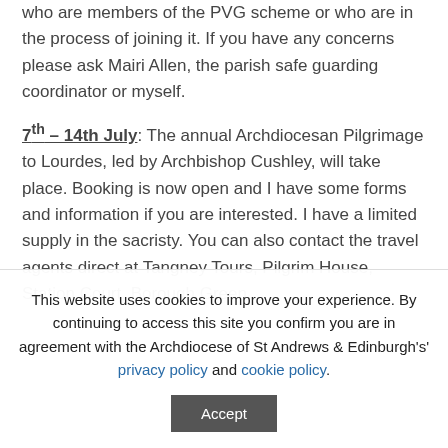who are members of the PVG scheme or who are in the process of joining it. If you have any concerns please ask Mairi Allen, the parish safe guarding coordinator or myself.
7th – 14th July: The annual Archdiocesan Pilgrimage to Lourdes, led by Archbishop Cushley, will take place. Booking is now open and I have some forms and information if you are interested. I have a limited supply in the sacristy. You can also contact the travel agents direct at Tangney Tours, Pilgrim House, Station Court, Borough Green,
This website uses cookies to improve your experience. By continuing to access this site you confirm you are in agreement with the Archdiocese of St Andrews & Edinburgh's' privacy policy and cookie policy. Accept